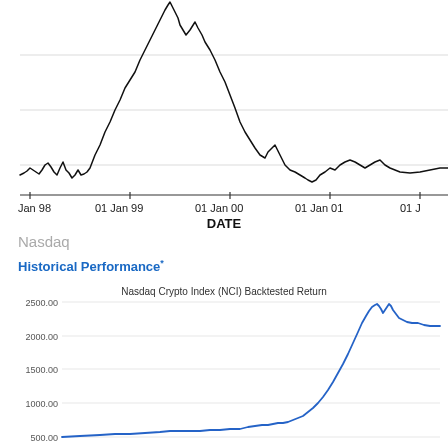[Figure (continuous-plot): Black line chart showing NASDAQ index price from Jan 98 to Jan 02 approximately, with a peak around Jan 00 and steep decline thereafter. X-axis labeled DATE with ticks at Jan 98, 01 Jan 99, 01 Jan 00, 01 Jan 01, 01 (Jan 02 cut off). No y-axis labels visible.]
Nasdaq
Historical Performance*
[Figure (continuous-plot): Blue line chart titled 'Nasdaq Crypto Index (NCI) Backtested Return'. Y-axis labeled from 500.00 to 2500.00. Line starts around 500, stays flat, then rises steeply to a peak around 2100 before declining to around 1800.]